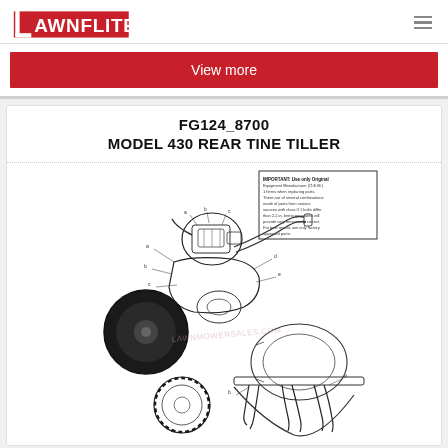Lawnflite
View more
FG124_8700
MODEL 430 REAR TINE TILLER
[Figure (engineering-diagram): Exploded parts diagram of Model 430 Rear Tine Tiller showing engine, transmission, tines, wheels, belts, and labeled components with part callout numbers. An IMPORTANT warning text box is shown in the upper right of the diagram. A watermark 'lawnmowersales.com' appears in the center.]